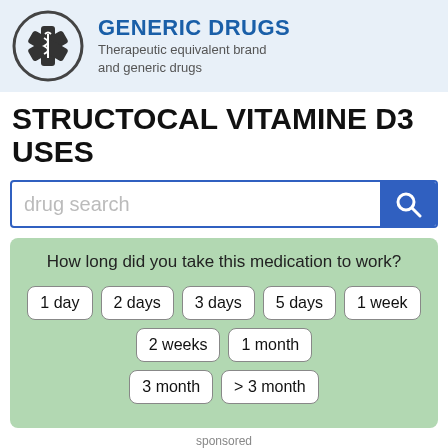[Figure (logo): Generic Drugs logo with medical star of life symbol in circle, with title 'GENERIC DRUGS' and subtitle 'Therapeutic equivalent brand and generic drugs']
STRUCTOCAL VITAMINE D3 USES
[Figure (screenshot): Drug search input box with blue search button]
[Figure (infographic): Green box asking 'How long did you take this medication to work?' with time buttons: 1 day, 2 days, 3 days, 5 days, 1 week, 2 weeks, 1 month, 3 month, > 3 month]
sponsored